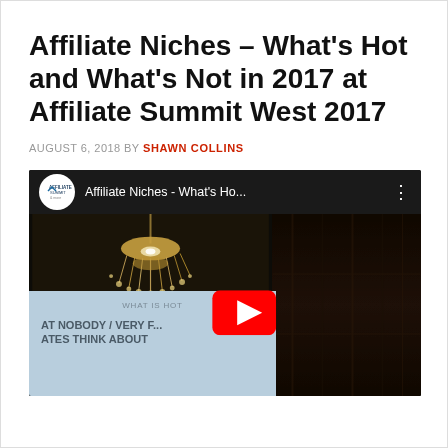Affiliate Niches – What's Hot and What's Not in 2017 at Affiliate Summit West 2017
AUGUST 6, 2018 BY SHAWN COLLINS
[Figure (screenshot): Embedded YouTube video thumbnail showing 'Affiliate Niches - What's Ho...' with Affiliate Summit logo, chandelier in background, a presentation slide partially visible reading 'WHAT IS HOT' and 'AT NOBODY / VERY ... ATES THINK ABOUT', and a red YouTube play button overlay.]